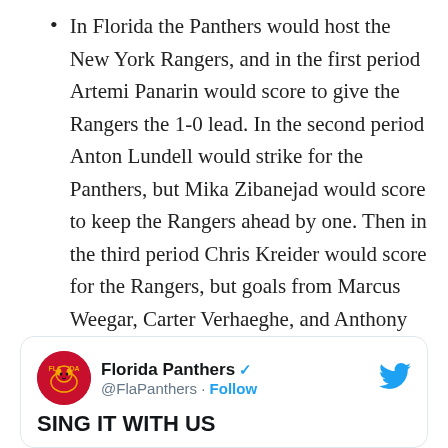In Florida the Panthers would host the New York Rangers, and in the first period Artemi Panarin would score to give the Rangers the 1-0 lead. In the second period Anton Lundell would strike for the Panthers, but Mika Zibanejad would score to keep the Rangers ahead by one. Then in the third period Chris Kreider would score for the Rangers, but goals from Marcus Weegar, Carter Verhaeghe, and Anthony Duclair would give the Panthers the 4-3 victory over the Rangers.
[Figure (screenshot): Tweet card from Florida Panthers (@FlaPanthers) with verified badge, Follow button, Twitter bird logo, and partial tweet text reading 'SING IT WITH US']